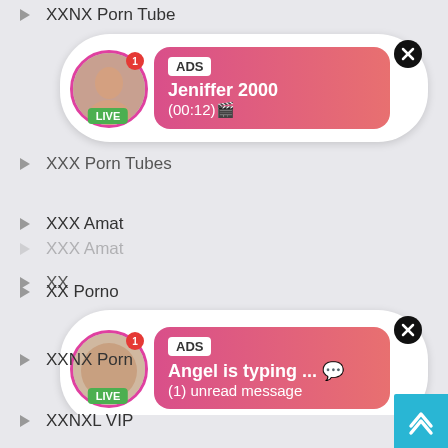XXNX Porn Tube
[Figure (screenshot): Ad card 1: Avatar with LIVE badge, ADS tag, 'Jeniffer 2000', '(00:12)🎬', gradient pink background, close X button]
XXX Porn Tubes
[Figure (screenshot): Ad card 2: Avatar with LIVE badge, ADS tag, 'Angel is typing ... 💬', '(1) unread message', gradient pink background, close X button]
XXX Amat
XX Porno
XXNX Porn
XXNXL VIP